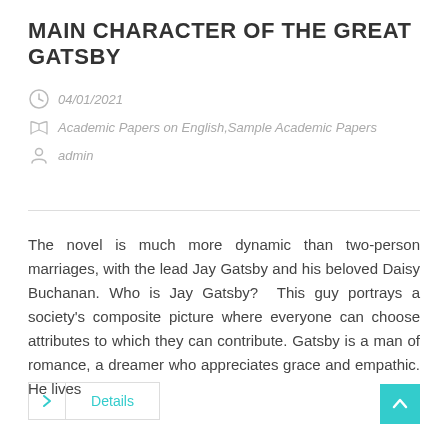MAIN CHARACTER OF THE GREAT GATSBY
04/01/2021
Academic Papers on English,Sample Academic Papers
admin
The novel is much more dynamic than two-person marriages, with the lead Jay Gatsby and his beloved Daisy Buchanan. Who is Jay Gatsby?  This guy portrays a society's composite picture where everyone can choose attributes to which they can contribute. Gatsby is a man of romance, a dreamer who appreciates grace and empathic. He lives